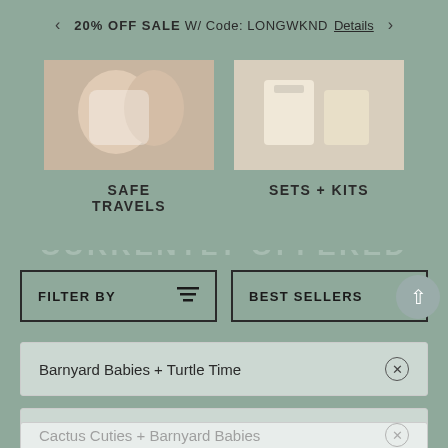20% OFF SALE W/ Code: LONGWKND Details
[Figure (photo): Safe Travels category image showing hands]
SAFE TRAVELS
[Figure (photo): Sets + Kits category image showing products]
SETS + KITS
FILTER BY
BEST SELLERS
Barnyard Babies + Turtle Time ×
Cactus Cuties + Barnyard Babies ×